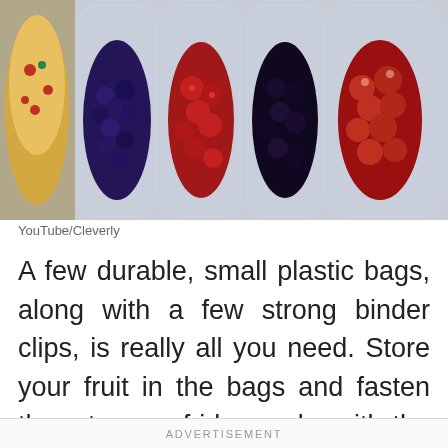[Figure (photo): Photo of multiple clear plastic bags containing various fruits (blueberries, strawberries, blackberries, cherries/tomatoes) lined up side by side, with a pizza or flat bread visible on the left edge. Bags appear to be hanging or leaning against a light background, likely inside a refrigerator.]
YouTube/Cleverly
A few durable, small plastic bags, along with a few strong binder clips, is really all you need. Store your fruit in the bags and fasten them to your fridge racks with the binder clips. Simple, easy, and cute!
ADVERTISEMENT